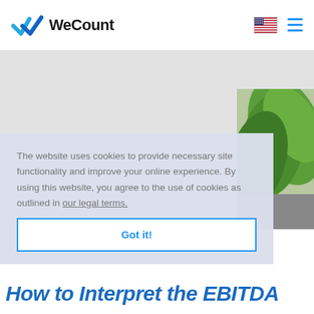[Figure (logo): WeCount logo with blue checkmark icon and bold WeCount text]
The website uses cookies to provide necessary site functionality and improve your online experience. By using this website, you agree to the use of cookies as outlined in our legal terms.
Got it!
How to Interpret the EBITDA